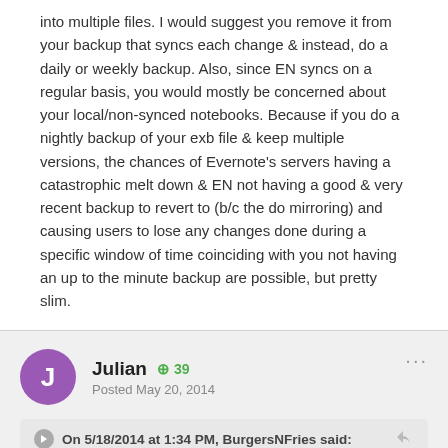into multiple files. I would suggest you remove it from your backup that syncs each change & instead, do a daily or weekly backup. Also, since EN syncs on a regular basis, you would mostly be concerned about your local/non-synced notebooks. Because if you do a nightly backup of your exb file & keep multiple versions, the chances of Evernote's servers having a catastrophic melt down & EN not having a good & very recent backup to revert to (b/c the do mirroring) and causing users to lose any changes done during a specific window of time coinciding with you not having an up to the minute backup are possible, but pretty slim.
Julian +39 Posted May 20, 2014
On 5/18/2014 at 1:34 PM, BurgersNFries said:
I agree with Gaz that it's extremely unlikely EN would break up the exb file into multiple files. I would suggest you remove it from your backup that syncs each change & instead, do a daily or weekly backup.